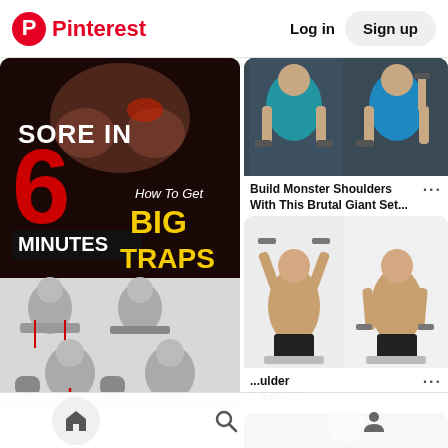Pinterest | Log in | Sign up
[Figure (photo): Fitness workout image with text 'SORE IN 6 MINUTES' and 'How To Get BIG TRAPS' with muscular figures showing trap exercises]
[Figure (photo): Two men in blue tank tops doing shoulder exercises with dumbbells in a gym]
Build Monster Shoulders With This Brutal Giant Set...
[Figure (photo): Two muscular men doing seated dumbbell shoulder press exercises]
... ulder ... ass -...
Home | Search | Profile navigation icons